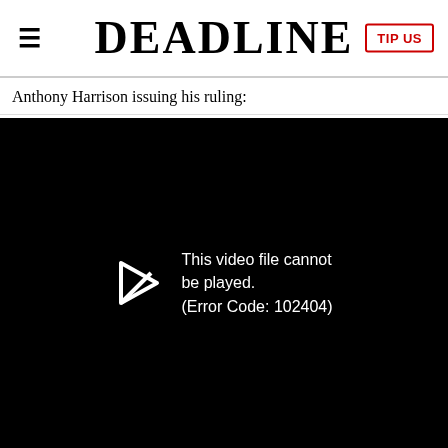≡  DEADLINE  TIP US
Anthony Harrison issuing his ruling:
[Figure (screenshot): Black video player area showing error message: 'This video file cannot be played. (Error Code: 102404)' with a play icon arrow on the left.]